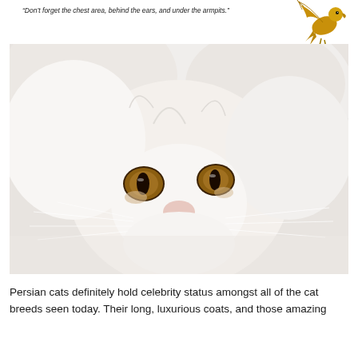“Don’t forget the chest area, behind the ears, and under the armpits.”
[Figure (illustration): Golden/yellow illustrated bird (eagle or similar) with wings spread, facing right]
[Figure (photo): Close-up photograph of a white Persian cat with amber/brown eyes and a flat face, looking slightly upward]
Persian cats definitely hold celebrity status amongst all of the cat breeds seen today. Their long, luxurious coats, and those amazing